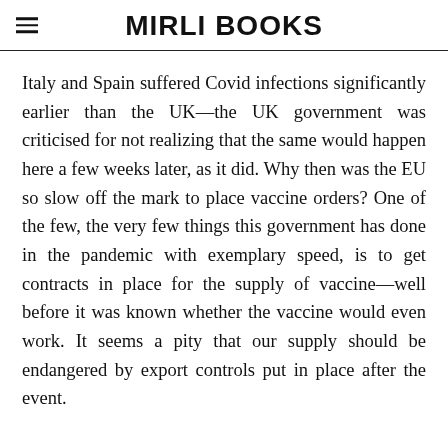MIRLI BOOKS
Italy and Spain suffered Covid infections significantly earlier than the UK—the UK government was criticised for not realizing that the same would happen here a few weeks later, as it did. Why then was the EU so slow off the mark to place vaccine orders? One of the few, the very few things this government has done in the pandemic with exemplary speed, is to get contracts in place for the supply of vaccine—well before it was known whether the vaccine would even work. It seems a pity that our supply should be endangered by export controls put in place after the event.